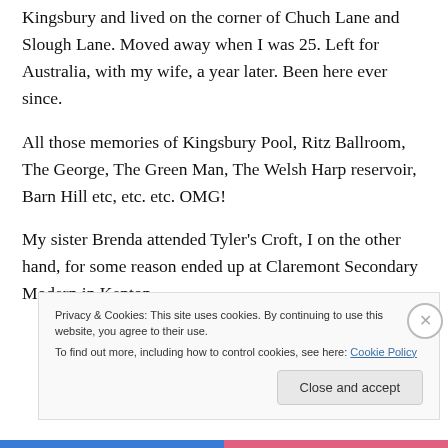Kingsbury and lived on the corner of Chuch Lane and Slough Lane. Moved away when I was 25. Left for Australia, with my wife, a year later. Been here ever since.

All those memories of Kingsbury Pool, Ritz Ballroom, The George, The Green Man, The Welsh Harp reservoir, Barn Hill etc, etc. etc. OMG!

My sister Brenda attended Tyler's Croft, I on the other hand, for some reason ended up at Claremont Secondary Modern in Kenton.
Privacy & Cookies: This site uses cookies. By continuing to use this website, you agree to their use.
To find out more, including how to control cookies, see here: Cookie Policy